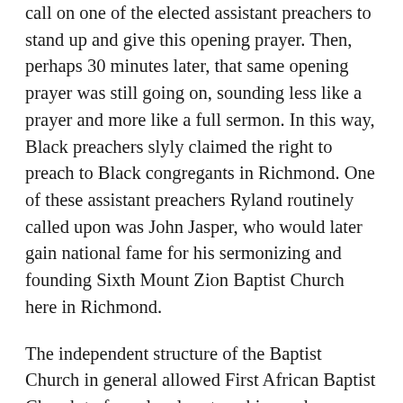call on one of the elected assistant preachers to stand up and give this opening prayer. Then, perhaps 30 minutes later, that same opening prayer was still going on, sounding less like a prayer and more like a full sermon. In this way, Black preachers slyly claimed the right to preach to Black congregants in Richmond. One of these assistant preachers Ryland routinely called upon was John Jasper, who would later gain national fame for his sermonizing and founding Sixth Mount Zion Baptist Church here in Richmond.
The independent structure of the Baptist Church in general allowed First African Baptist Church to forge local partnerships and committees, pouring their resources into causes that uplifted and empowered the Black community. They formed mutual beneficial societies and aided those in poverty. With so much poverty and suffering in their own community, the church was nevertheless liberal in their charity. Members—both enslaved and free—raised money to